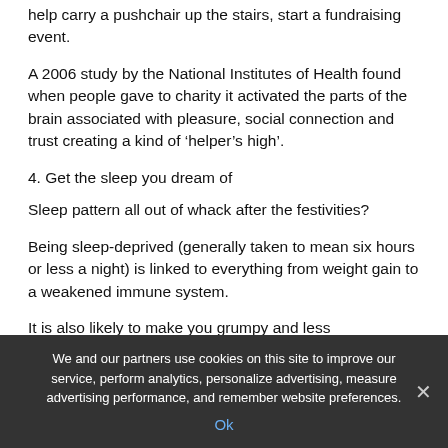help carry a pushchair up the stairs, start a fundraising event.
A 2006 study by the National Institutes of Health found when people gave to charity it activated the parts of the brain associated with pleasure, social connection and trust creating a kind of ‘helper’s high’.
4. Get the sleep you dream of
Sleep pattern all out of whack after the festivities?
Being sleep-deprived (generally taken to mean six hours or less a night) is linked to everything from weight gain to a weakened immune system.
It is also likely to make you grumpy and less
We and our partners use cookies on this site to improve our service, perform analytics, personalize advertising, measure advertising performance, and remember website preferences.
Ok